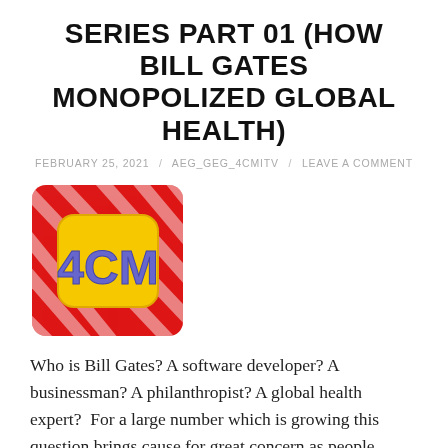SERIES PART 01 (HOW BILL GATES MONOPOLIZED GLOBAL HEALTH)
FEBRUARY 25, 2021 / AEG_GEG_4CMITV / LEAVE A COMMENT
[Figure (logo): 4CM logo: red diagonal-stripe square background with a yellow rounded-square and blue-purple bold text '4CM']
Who is Bill Gates? A software developer? A businessman? A philanthropist? A global health expert?  For a large number which is growing this question brings cause for great concern as people realise Bill Gates is being the one controlling the